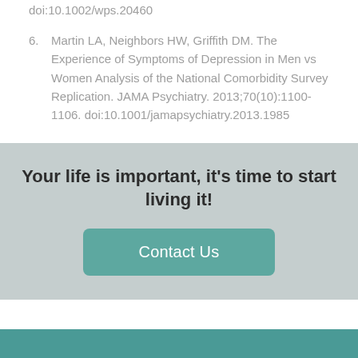doi:10.1002/wps.20460
6. Martin LA, Neighbors HW, Griffith DM. The Experience of Symptoms of Depression in Men vs Women Analysis of the National Comorbidity Survey Replication. JAMA Psychiatry. 2013;70(10):1100-1106. doi:10.1001/jamapsychiatry.2013.1985
Your life is important, it's time to start living it!
Contact Us